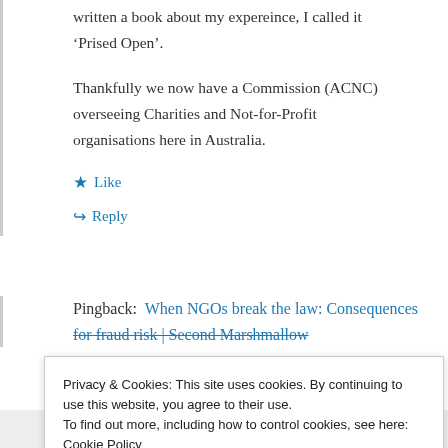written a book about my expereince, I called it 'Prised Open'.
Thankfully we now have a Commission (ACNC) overseeing Charities and Not-for-Profit organisations here in Australia.
Like
Reply
Pingback:  When NGOs break the law: Consequences for fraud risk | Second Marshmallow
Privacy & Cookies: This site uses cookies. By continuing to use this website, you agree to their use.
To find out more, including how to control cookies, see here: Cookie Policy
Follow ...